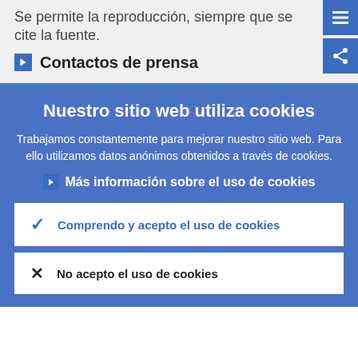Se permite la reproducción, siempre que se cite la fuente.
Contactos de prensa
Nuestro sitio web utiliza cookies
Trabajamos constantemente para mejorar nuestro sitio web. Para ello utilizamos datos anónimos obtenidos a través de cookies.
Más información sobre el uso de cookies
Comprendo y acepto el uso de cookies
No acepto el uso de cookies